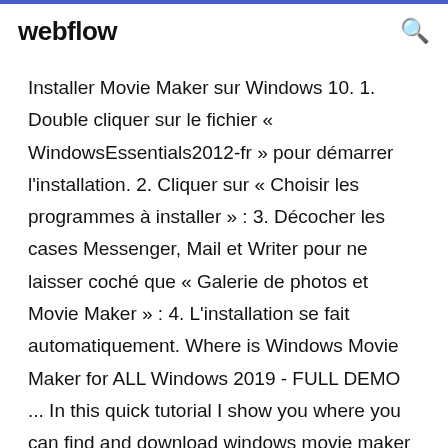webflow
Installer Movie Maker sur Windows 10. 1. Double cliquer sur le fichier « WindowsEssentials2012-fr » pour démarrer l'installation. 2. Cliquer sur « Choisir les programmes à installer » : 3. Décocher les cases Messenger, Mail et Writer pour ne laisser coché que « Galerie de photos et Movie Maker » : 4. L'installation se fait automatiquement. Where is Windows Movie Maker for ALL Windows 2019 - FULL DEMO ... In this quick tutorial I show you where you can find and download windows movie maker for free in 2019 unto your computer or laptop. It doesn't matter what version of windows you have all the ... Windows Movie Maker 2019 Free Download - Latest and Classic... Windows